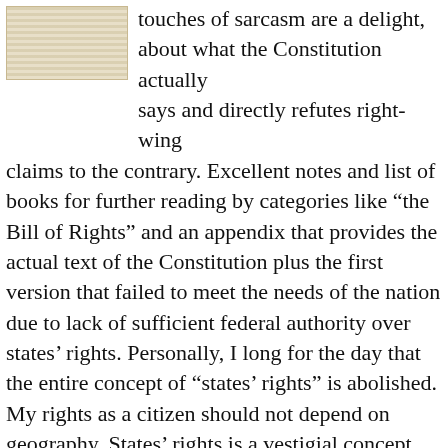[Figure (photo): Small thumbnail image of a book or document cover, partially visible at the top left]
touches of sarcasm are a delight, about what the Constitution actually says and directly refutes right-wing claims to the contrary. Excellent notes and list of books for further reading by categories like “the Bill of Rights” and an appendix that provides the actual text of the Constitution plus the first version that failed to meet the needs of the nation due to lack of sufficient federal authority over states’ rights. Personally, I long for the day that the entire concept of “states’ rights” is abolished. My rights as a citizen should not depend on geography. States’ rights is a vestigial concept leftover from the fear of a central “kingdom” type of government.
I may write the author and suggest he dedicate another volume to the Fourteenth Amendment, and social justice issues related to it that have had Supreme Court (bad or good) rulings, especially in